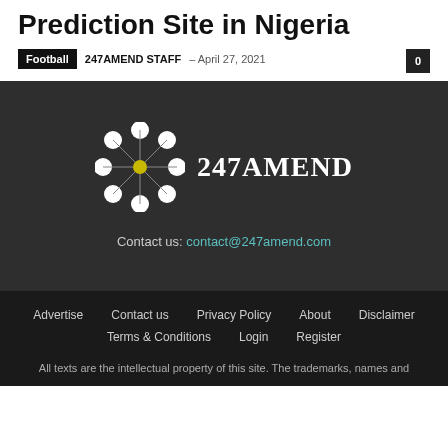Prediction Site in Nigeria
Football  247AMEND STAFF – April 27, 2021  0
[Figure (logo): 247AMEND logo: circular dot pattern with yellow center node and white dots, followed by text '247AMEND' in white serif font on dark background]
Contact us: contact@247amend.com
Advertise  Contact us  Privacy Policy  About  Disclaimer  Terms & Conditions  Login  Register
All texts are the intellectual property of this site. The trademarks, names and